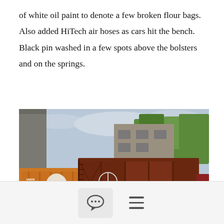of white oil paint to denote a few broken flour bags.   Also added HiTech air hoses as cars hit the bench.   Black pin washed in a few spots above the bolsters and on the springs.
[Figure (photo): Model railroad scene showing two freight cars on tracks — an orange Union Pacific refrigerator car on the left and a dark brown/maroon ATSF (Santa Fe) box car labeled 'A TS F 21133' in the center. Background includes model buildings and trees. Tracks and ballast visible in foreground.]